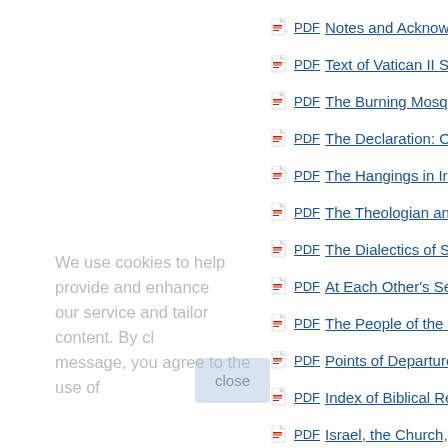PDF  Notes and Acknowle...
PDF  Text of Vatican II Sta...
PDF  The Burning Mosqu...
PDF  The Declaration: On...
PDF  The Hangings in Ira...
PDF  The Theologian and...
PDF  The Dialectics of Sa...
PDF  At Each Other's Ser...
PDF  The People of the C...
PDF  Points of Departure...
PDF  Index of Biblical Ref...
PDF  Israel, the Church, a...
We use cookies to help provide and enhance our service and tailor content. By closing this message, you agree to the use of cookies.